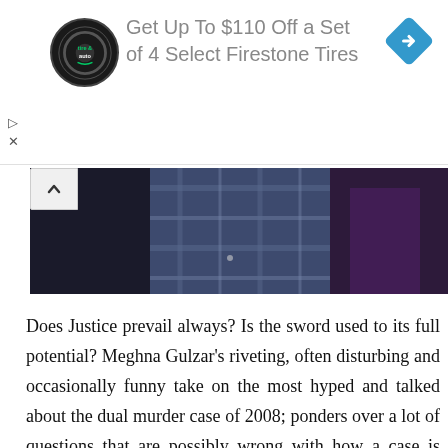[Figure (other): Advertisement banner: Firestone tire and auto logo (circular black badge), text 'Get Up To $110 Off a Set of 4 Select Firestone Tires', and a blue diamond navigation icon on the right. Two small symbols (play arrow and X) on the left side below the banner.]
[Figure (photo): Partial photo showing people in a dark setting, one person wearing a blue/grey plaid shirt, another in dark/purple clothing, taken in low light — appears to be a film still or event photo.]
Does Justice prevail always? Is the sword used to its full potential? Meghna Gulzar's riveting, often disturbing and occasionally funny take on the most hyped and talked about the dual murder case of 2008; ponders over a lot of questions that are possibly wrong with how a case is handled in a country. Where murders are frequently left to hope of an investigative system that doesn't really care until its own name is on the line. It's an achievement by the people who have worked on Talvar, as they have managed to make a